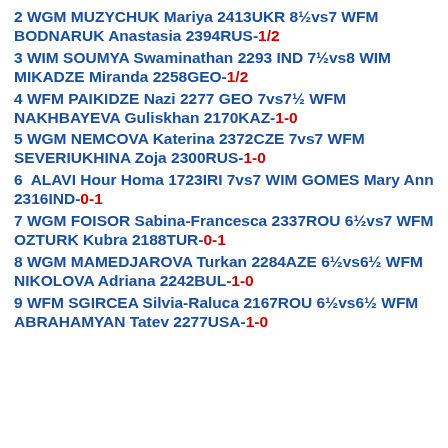2 WGM MUZYCHUK Mariya 2413UKR 8½vs7 WFM BODNARUK Anastasia 2394RUS-1/2
3 WIM SOUMYA Swaminathan 2293 IND 7½vs8 WIM MIKADZE Miranda 2258GEO-1/2
4 WFM PAIKIDZE Nazi 2277 GEO 7vs7½ WFM NAKHBAYEVA Guliskhan 2170KAZ-1-0
5 WGM NEMCOVA Katerina 2372CZE 7vs7 WFM SEVERIUKHINA Zoja 2300RUS-1-0
6  ALAVI Hour Homa 1723IRI 7vs7 WIM GOMES Mary Ann 2316IND-0-1
7 WGM FOISOR Sabina-Francesca 2337ROU 6½vs7 WFM OZTURK Kubra 2188TUR-0-1
8 WGM MAMEDJAROVA Turkan 2284AZE 6½vs6½ WFM NIKOLOVA Adriana 2242BUL-1-0
9 WFM SGIRCEA Silvia-Raluca 2167ROU 6½vs6½ WFM ABRAHAMYAN Tatev 2277USA-1-0